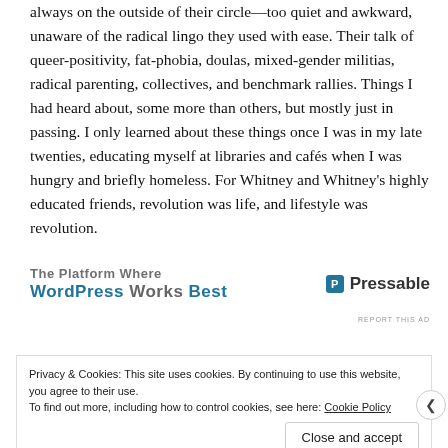always on the outside of their circle—too quiet and awkward, unaware of the radical lingo they used with ease. Their talk of queer-positivity, fat-phobia, doulas, mixed-gender militias, radical parenting, collectives, and benchmark rallies. Things I had heard about, some more than others, but mostly just in passing. I only learned about these things once I was in my late twenties, educating myself at libraries and cafés when I was hungry and briefly homeless. For Whitney and Whitney's highly educated friends, revolution was life, and lifestyle was revolution.
[Figure (other): WordPress/Pressable advertisement banner showing 'The Platform Where WordPress Works Best' and Pressable logo]
REPORT THIS AD
Privacy & Cookies: This site uses cookies. By continuing to use this website, you agree to their use. To find out more, including how to control cookies, see here: Cookie Policy
Close and accept